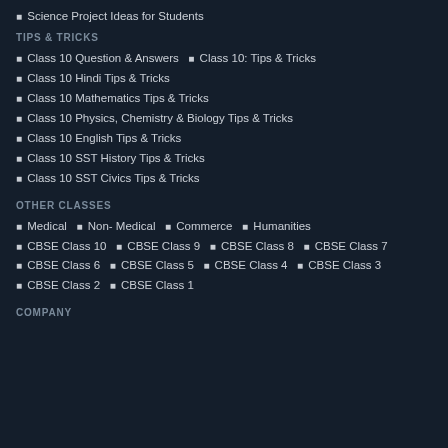Science Project Ideas for Students
TIPS & TRICKS
Class 10 Question & Answers   Class 10: Tips & Tricks
Class 10 Hindi Tips & Tricks
Class 10 Mathematics Tips & Tricks
Class 10 Physics, Chemistry & Biology Tips & Tricks
Class 10 English Tips & Tricks
Class 10 SST History Tips & Tricks
Class 10 SST Civics Tips & Tricks
OTHER CLASSES
Medical   Non- Medical   Commerce   Humanities
CBSE Class 10   CBSE Class 9   CBSE Class 8   CBSE Class 7
CBSE Class 6   CBSE Class 5   CBSE Class 4   CBSE Class 3
CBSE Class 2   CBSE Class 1
COMPANY